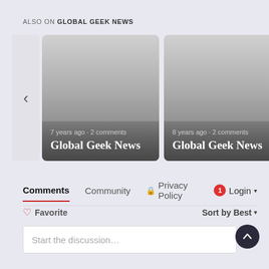ALSO ON GLOBAL GEEK NEWS
[Figure (screenshot): Two article card thumbnails with gradient backgrounds. Left card: '7 years ago · 2 comments' / 'Global Geek News'. Right card: '8 years ago · 2 comments' / 'Global Geek News'. Navigation arrows (< and >) on the sides.]
Comments  Community  🔒 Privacy Policy  🔴1  Login ▾
♡ Favorite  Sort by Best ▾
Start the discussion…